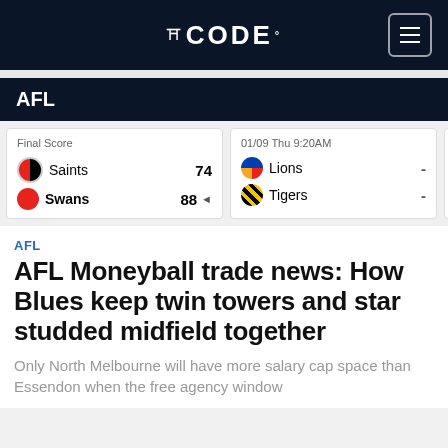CODE
AFL
| Team | Score |
| --- | --- |
| Saints | 74 |
| Swans | 88 |
| Team | Score |
| --- | --- |
| Lions | - |
| Tigers | - |
| Team | Score |
| --- | --- |
| Dem... | - |
| Swa... | - |
AFL
AFL Moneyball trade news: How Blues keep twin towers and star studded midfield together
Only North Melbourne will have more salary cap space than Essendon when the free agency window